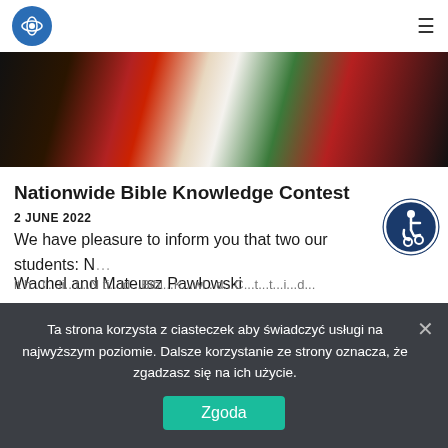[Figure (photo): Partial view of books or colored document covers on a desk, in red, white, black and green colors]
Nationwide Bible Knowledge Contest
2 JUNE 2022
We have pleasure to inform you that two our students: N... Wachel and Mateusz Pawłowski
[Figure (logo): Accessibility icon — blue circle with white wheelchair symbol]
Ta strona korzysta z ciasteczek aby świadczyć usługi na najwyższym poziomie. Dalsze korzystanie ze strony oznacza, że zgadzasz się na ich użycie.
Zgoda